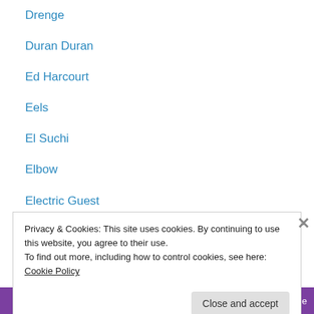Drenge
Duran Duran
Ed Harcourt
Eels
El Suchi
Elbow
Electric Guest
Everything Everything
Evian Christ
Eyedress
Fat White Family
Father John Misty
Femi & Made Kuti
Privacy & Cookies: This site uses cookies. By continuing to use this website, you agree to their use. To find out more, including how to control cookies, see here: Cookie Policy
Close and accept